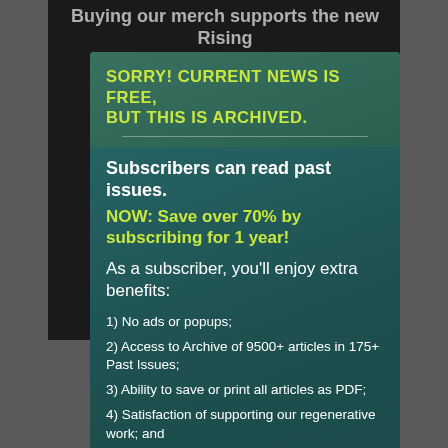Buying our merch supports the new Rising Pla...te, h...e
SORRY! CURRENT NEWS IS FREE, BUT THIS IS ARCHIVED.
Subscribers can read past issues.
NOW: Save over 70% by subscribing for 1 year!
As a subscriber, you'll enjoy extra benefits:
1) No ads or popups;
2) Access to Archive of 9500+ articles in 175+ Past Issues;
3) Ability to save or print all articles as PDF;
4) Satisfaction of supporting our regenerative work; and
5) Email notification of new issues (2X/month). And More!